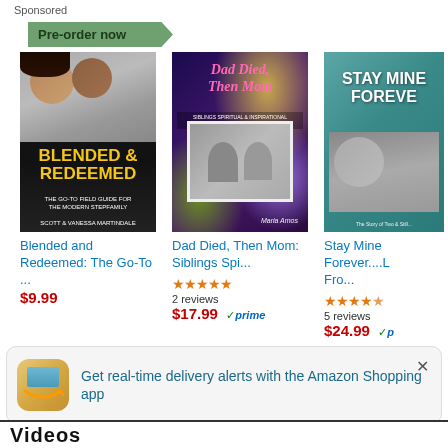Sponsored
Pre-order now
[Figure (photo): Book cover: Blended & Redeemed – The Go-To Field Guide for the Modern Stepfamily by Scott & Vanessa Martindale, foreword by Jimmy Evans]
Blended and Redeemed: The Go-To ...
$9.99
[Figure (photo): Book cover: Dad Died, Then Mom: Siblings Spiritual & Inspirational Memoir as Caregivers by Maria Amos]
Dad Died, Then Mom: Siblings Spi...
★★★★★ 2 reviews $17.99 ✓prime
[Figure (photo): Book cover: Stay Mine Forever...L Fro... (partially visible)]
Stay Mine Forever....L Fro...
★★★★★ (half) 5 reviews $24.99 ✓p
Get real-time delivery alerts with the Amazon Shopping app